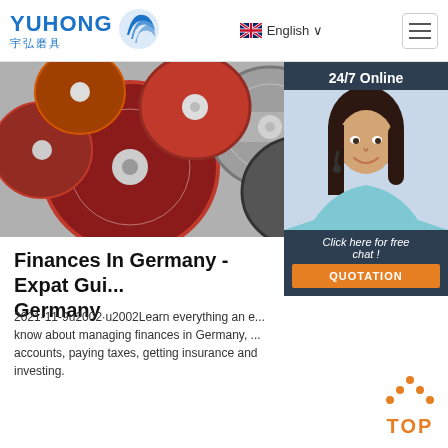YUHONG 宇弘磨具 | English
[Figure (photo): Product photo of grinding/cutting discs arranged together, red and grey discs]
[Figure (photo): 24/7 Online support widget with female agent wearing headset, showing 'Click here for free chat!' and QUOTATION button]
Finances In Germany - Expat Gui... Germany
2021-11-9u2002·u2002Learn everything an e... know about managing finances in Germany, ... accounts, paying taxes, getting insurance and investing.
[Figure (other): Get Price button - brown/rust colored button]
[Figure (other): TOP scroll-to-top button with orange dots arrow icon and orange TOP text]